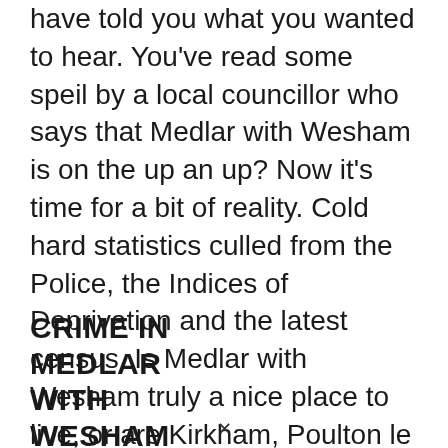have told you what you wanted to hear. You've read some speil by a local councillor who says that Medlar with Wesham is on the up an up? Now it's time for a bit of reality. Cold hard statistics culled from the Police, the Indices of Deprivation and the latest census. Is Medlar with Wesham truly a nice place to live, or are Kirkham, Poulton le Fylde and Wesham a lot better? Time to find out.
CRIME IN MEDLAR WITH WESHAM